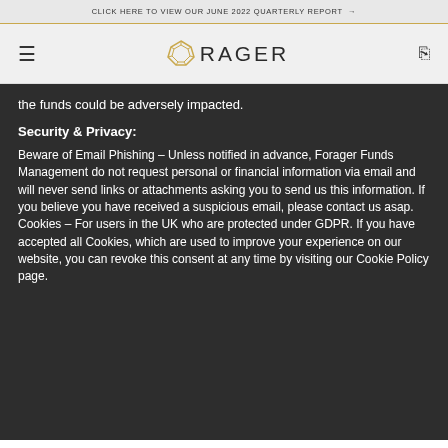CLICK HERE TO VIEW OUR JUNE 2022 QUARTERLY REPORT →
[Figure (logo): Forager Funds Management logo with geometric diamond icon in gold/orange and sans-serif text FORAGER]
the funds could be adversely impacted.
Security & Privacy:
Beware of Email Phishing – Unless notified in advance, Forager Funds Management do not request personal or financial information via email and will never send links or attachments asking you to send us this information. If you believe you have received a suspicious email, please contact us asap. Cookies – For users in the UK who are protected under GDPR. If you have accepted all Cookies, which are used to improve your experience on our website, you can revoke this consent at any time by visiting our Cookie Policy page.